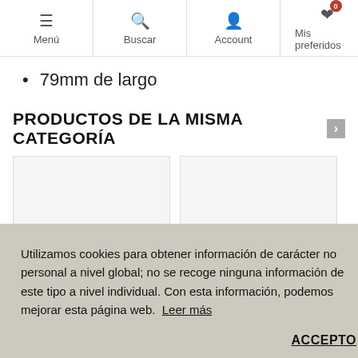Menú | Buscar | Account | Mis preferidos | Co...
79mm de largo
PRODUCTOS DE LA MISMA CATEGORÍA
[Figure (other): Two product card placeholders (light gray rectangles) side by side]
Utilizamos cookies para obtener información de carácter no personal a nivel global; no se recoge ninguna información de este tipo a nivel individual. Con esta información, podemos mejorar esta página web.  Leer más
ACCEPTO
★★★★★ (0)
GRANDE